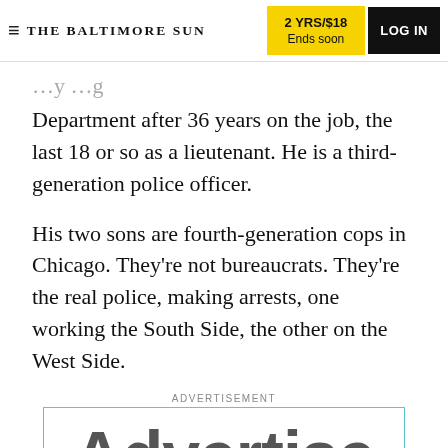THE BALTIMORE SUN | 2 YRS/$18 Ends soon | LOG IN
Department after 36 years on the job, the last 18 or so as a lieutenant. He is a third-generation police officer.
His two sons are fourth-generation cops in Chicago. They're not bureaucrats. They're the real police, making arrests, one working the South Side, the other on the West Side.
ADVERTISEMENT
[Figure (other): Advertisement placeholder box with large text 'Advertise']
ADVERTISEMENT
[Figure (other): Advertisement placeholder box with 'Advertise' text and Tribune Publishing logo]